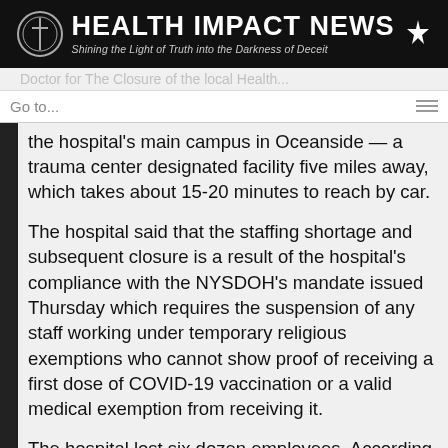HEALTH IMPACT NEWS — Shining the Light of Truth into the Darkness of Deceit
the hospital's main campus in Oceanside — a trauma center designated facility five miles away, which takes about 15-20 minutes to reach by car.
The hospital said that the staffing shortage and subsequent closure is a result of the hospital's compliance with the NYSDOH's mandate issued Thursday which requires the suspension of any staff working under temporary religious exemptions who cannot show proof of receiving a first dose of COVID-19 vaccination or a valid medical exemption from receiving it.
The hospital lost six dozen employees. According to the hospital, all were